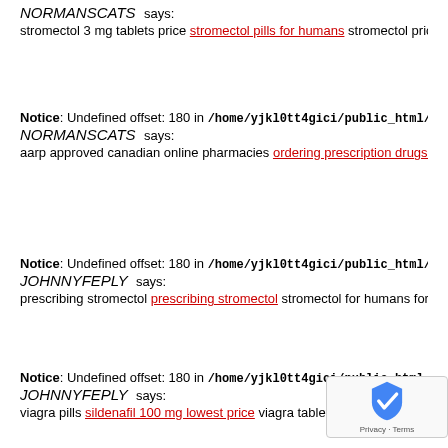NORMANSCATS says:
stromectol 3 mg tablets price stromectol pills for humans stromectol price
Notice: Undefined offset: 180 in /home/yjkl0tt4gici/public_html/wp-content
NORMANSCATS says:
aarp approved canadian online pharmacies ordering prescription drugs f
Notice: Undefined offset: 180 in /home/yjkl0tt4gici/public_html/wp-content
JOHNNYFEPLY says:
prescribing stromectol prescribing stromectol stromectol for humans for s
Notice: Undefined offset: 180 in /home/yjkl0tt4gici/public_html
JOHNNYFEPLY says:
viagra pills sildenafil 100 mg lowest price viagra tablets for men